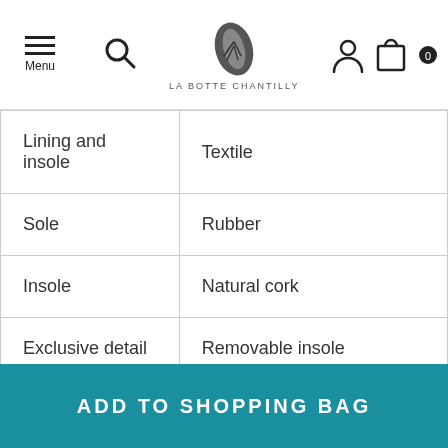Menu | LA BOTTE CHANTILLY
| Lining and insole | Textile |
| Sole | Rubber |
| Insole | Natural cork |
| Exclusive detail | Removable insole |
ADD TO SHOPPING BAG